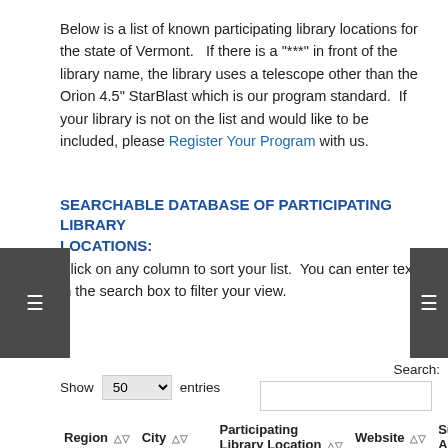Below is a list of known participating library locations for the state of Vermont.   If there is a "***" in front of the library name, the library uses a telescope other than the Orion 4.5" StarBlast which is our program standard.  If your library is not on the list and would like to be included, please Register Your Program with us.
SEARCHABLE DATABASE OF PARTICIPATING LIBRARY LOCATIONS:
Click on any column to sort your list.  You can enter text in the search box to filter your view.
| Region | City | Participating Library Location | Website | Supporting Astro Club |
| --- | --- | --- | --- | --- |
| VT | Bennington | Bennington Free Library | View | Aldrich Astronomical Society |
|  |  | Bennington F... |  | Aldrich |